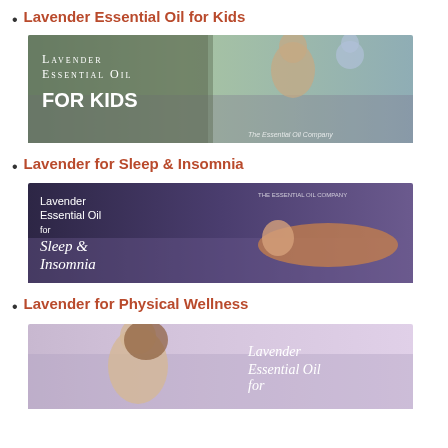Lavender Essential Oil for Kids
[Figure (photo): Banner image: mother and child in lavender field with text 'Lavender Essential Oil FOR KIDS' and 'The Essential Oil Company']
Lavender for Sleep & Insomnia
[Figure (photo): Banner image: woman lying in lavender field with text 'Lavender Essential Oil for Sleep & Insomnia' and 'THE ESSENTIAL OIL COMPANY']
Lavender for Physical Wellness
[Figure (photo): Banner image: woman in lavender field with cursive text 'Lavender Essential Oil for' (partially visible)]